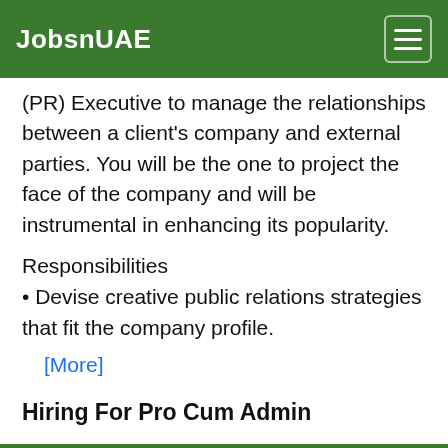JobsnUAE
(PR) Executive to manage the relationships between a client's company and external parties. You will be the one to project the face of the company and will be instrumental in enhancing its popularity.
Responsibilities
• Devise creative public relations strategies that fit the company profile.
[More]
Hiring For Pro Cum Admin